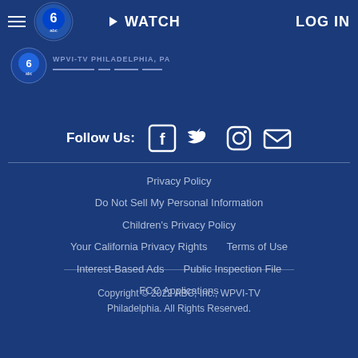WATCH   LOG IN
[Figure (logo): WPVI-TV Philadelphia ABC 6 logo]
Follow Us:
[Figure (infographic): Social media icons: Facebook, Twitter, Instagram, Email]
Privacy Policy
Do Not Sell My Personal Information
Children's Privacy Policy
Your California Privacy Rights    Terms of Use
Interest-Based Ads    Public Inspection File
FCC Applications
Copyright © 2022 ABC, Inc., WPVI-TV Philadelphia. All Rights Reserved.